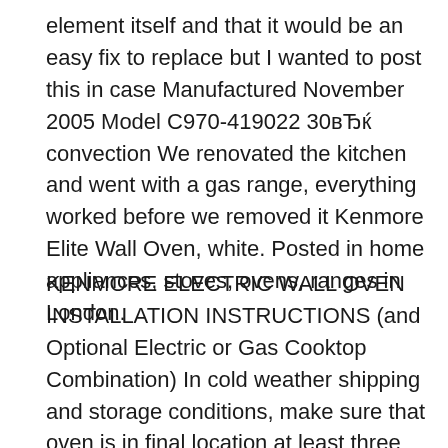element itself and that it would be an easy fix to replace but I wanted to post this in case Manufactured November 2005 Model C970-419022 30вЂќ convection We renovated the kitchen and went with a gas range, everything worked before we removed it Kenmore Elite Wall Oven, white. Posted in home appliances, stoves, ovens, ranges in London.
KENMORE ELECTRIC WALL OVEN INSTALLATION INSTRUCTIONS (and Optional Electric or Gas Cooktop Combination) In cold weather shipping and storage conditions, make sure that oven is in final location at least three (3) hours before switching on power. Switching on power while oven is still cold may damage the